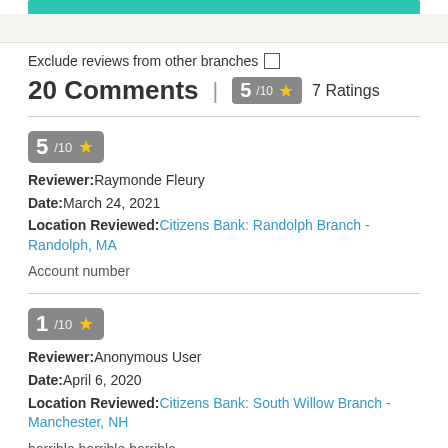Exclude reviews from other branches
20 Comments | 5/10 ★ 7 Ratings
5/10 ★
Reviewer: Raymonde Fleury
Date: March 24, 2021
Location Reviewed: Citizens Bank: Randolph Branch - Randolph, MA
Account number
1/10 ★
Reviewer: Anonymous User
Date: April 6, 2020
Location Reviewed: Citizens Bank: South Willow Branch - Manchester, NH
horrible horrible horrible